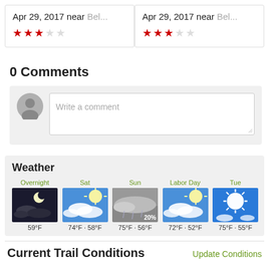Apr 29, 2017 near Bel... ★★★☆☆
Apr 29, 2017 near Bel... ★★★☆☆
0 Comments
Write a comment
Weather
[Figure (infographic): Weather forecast panel showing 5 days: Overnight 59°F (night sky), Sat 74°F·58°F (sunny/cloudy), Sun 75°F·56°F (rainy 20%), Labor Day 72°F·52°F (sunny/cloudy), Tue 75°F·55°F (bright sun)]
Current Trail Conditions
Update Conditions